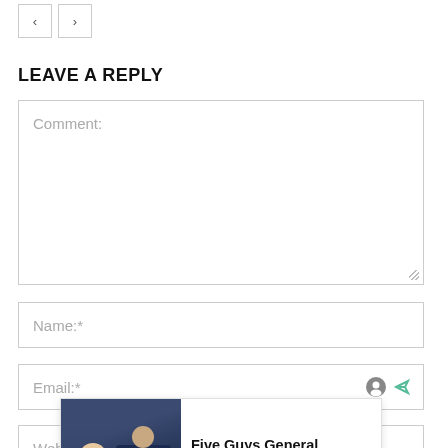[Figure (other): Navigation previous and next arrow buttons]
LEAVE A REPLY
Comment:
Name:*
Email:*
Webs...
[Figure (other): Advertisement overlay: Five Guys General Operational Manager Jo... Sponsored | jobble.com]